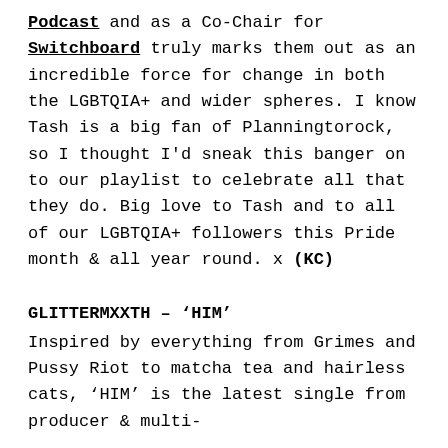Podcast and as a Co-Chair for Switchboard truly marks them out as an incredible force for change in both the LGBTQIA+ and wider spheres. I know Tash is a big fan of Planningtorock, so I thought I'd sneak this banger on to our playlist to celebrate all that they do. Big love to Tash and to all of our LGBTQIA+ followers this Pride month & all year round. x (KC)
GLITTERMXXTH – 'HIM'
Inspired by everything from Grimes and Pussy Riot to matcha tea and hairless cats, 'HIM' is the latest single from producer & multi-